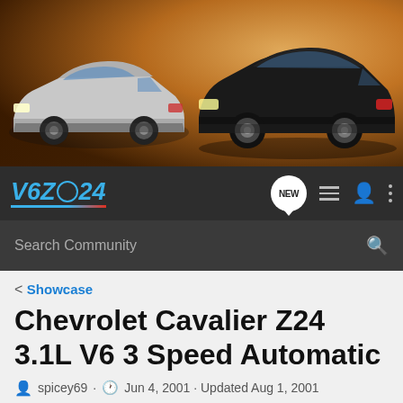[Figure (photo): Hero banner showing two Chevrolet Cavalier Z24 cars against a golden sunset background. A white/silver compact car on the left and a dark-colored coupe on the right.]
V6Z24 community website navigation bar with logo, NEW button, list icon, user icon, and menu icon
Search Community
< Showcase
Chevrolet Cavalier Z24 3.1L V6 3 Speed Automatic
spicey69 · Jun 4, 2001 · Updated Aug 1, 2001
+ Follow